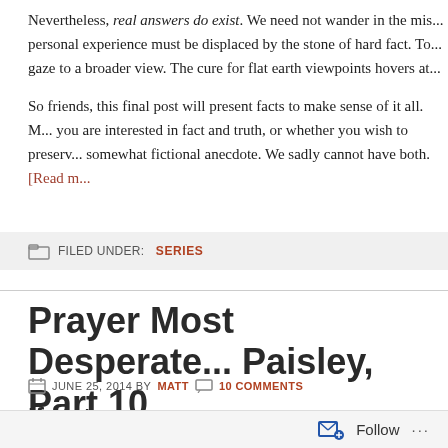Nevertheless, real answers do exist. We need not wander in the mis... personal experience must be displaced by the stone of hard fact. To... gaze to a broader view. The cure for flat earth viewpoints hovers at...
So friends, this final post will present facts to make sense of it all. M... you are interested in fact and truth, or whether you wish to preserv... somewhat fictional anecdote. We sadly cannot have both. [Read m...
FILED UNDER: SERIES
Prayer Most Desperate... Paisley, Part 10
JUNE 25, 2014 BY MATT  10 COMMENTS
If not now...